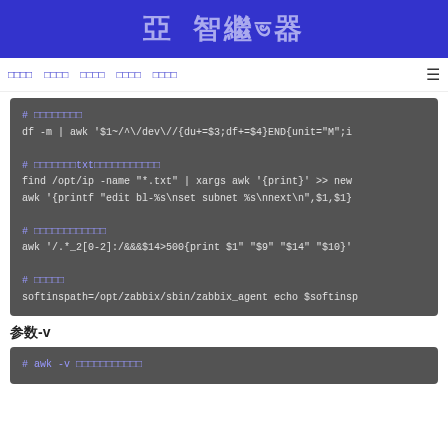亞 智繼ভ器
□□□□  □□□□  □□□□  □□□□  □□□□
[Figure (screenshot): Dark grey code block showing shell commands with awk, df, find, and softinspath examples with Chinese comments]
参数-v
[Figure (screenshot): Dark grey code block showing awk -v command with Chinese comment]